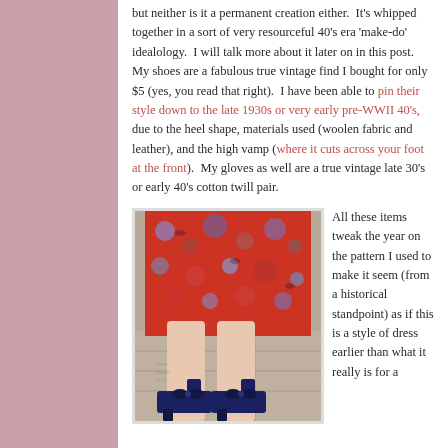but neither is it a permanent creation either. It's whipped together in a sort of very resourceful 40's era 'make-do' idealology. I will talk more about it later on in this post. My shoes are a fabulous true vintage find I bought for only $5 (yes, you read that right). I have been able to pin their style down to the late 1930s or very early pre-WWII 40's, due to the heel shape, materials used (woolen fabric and leather), and the high vamp (where it cuts across your foot at the front). My gloves as well are a true vintage late 30's or early 40's cotton twill pair.
[Figure (photo): Close-up photo of a person wearing a red floral dress and navy blue heeled shoes with a bow, standing on pavement.]
All these items tweak the year on the pattern I used to make it seem (from a historical standpoint) as if this is a style of dress earlier than what it really is for a